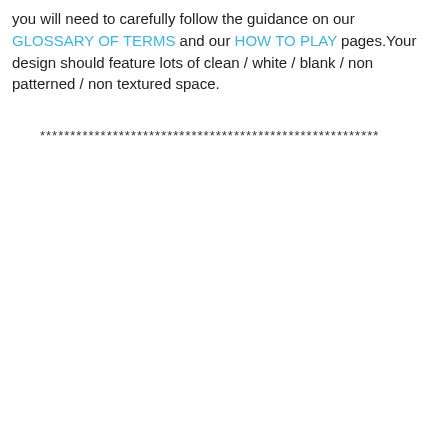you will need to carefully follow the guidance on our GLOSSARY OF TERMS and our HOW TO PLAY pages.Your design should feature lots of clean / white / blank / non patterned / non textured space.
********************************************************